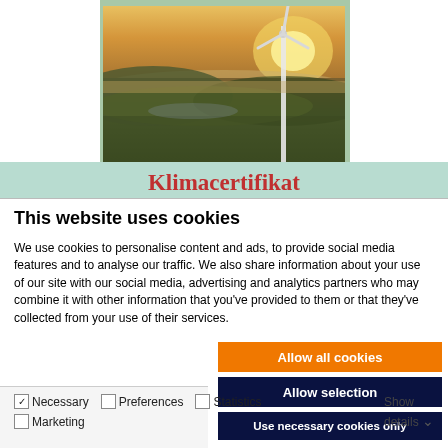[Figure (photo): Aerial photo of wind turbine in a green landscape at sunset/sunrise with golden sky]
Klimacertifikat
This website uses cookies
We use cookies to personalise content and ads, to provide social media features and to analyse our traffic. We also share information about your use of our site with our social media, advertising and analytics partners who may combine it with other information that you've provided to them or that they've collected from your use of their services.
Allow all cookies
Allow selection
Use necessary cookies only
Necessary   Preferences   Statistics   Marketing   Show details